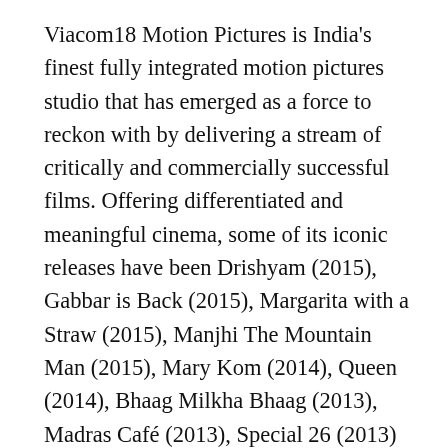Viacom18 Motion Pictures is India's finest fully integrated motion pictures studio that has emerged as a force to reckon with by delivering a stream of critically and commercially successful films. Offering differentiated and meaningful cinema, some of its iconic releases have been Drishyam (2015), Gabbar is Back (2015), Margarita with a Straw (2015), Manjhi The Mountain Man (2015), Mary Kom (2014), Queen (2014), Bhaag Milkha Bhaag (2013), Madras Café (2013), Special 26 (2013) and Kahaani (2012) to name a few. Viacom18 Motion Pictures is also one of the few studios to have successfully ventured into regional films across languages like Bengali, Marathi, Punjabi and from the South. The Studio has also backed path-breaking and much-appreciated creative work in the form of hits like Bombay...